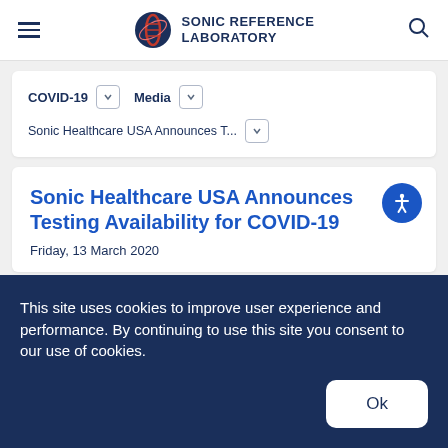SONIC REFERENCE LABORATORY
COVID-19 ∨   Media ∨   Sonic Healthcare USA Announces T... ∨
Sonic Healthcare USA Announces Testing Availability for COVID-19
Friday, 13 March 2020
This site uses cookies to improve user experience and performance. By continuing to use this site you consent to our use of cookies.